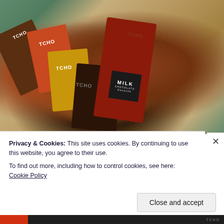[Figure (photo): Photo of multiple TCHO chocolate bars and one other milk chocolate bar arranged on a bed of straw/paper shreds. Bars include brown/star-branded, orange, yellow, dark textured, and a red milk chocolate bar.]
Privacy & Cookies: This site uses cookies. By continuing to use this website, you agree to their use.
To find out more, including how to control cookies, see here: Cookie Policy
Close and accept
TCHO